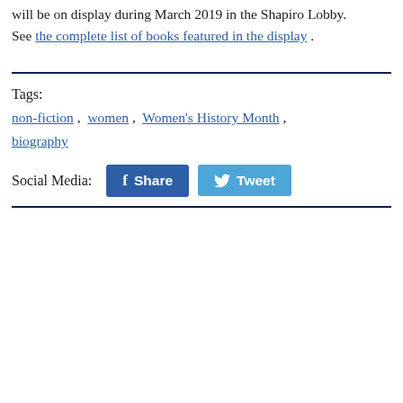will be on display during March 2019 in the Shapiro Lobby. See the complete list of books featured in the display.
Tags: non-fiction, women, Women's History Month, biography
Social Media: [Facebook Share button] [Twitter Tweet button]